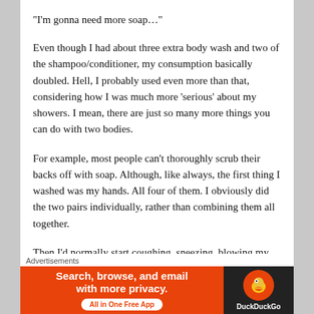“I’m gonna need more soap…”
Even though I had about three extra body wash and two of the shampoo/conditioner, my consumption basically doubled. Hell, I probably used even more than that, considering how I was much more ‘serious’ about my showers. I mean, there are just so many more things you can do with two bodies.
For example, most people can’t thoroughly scrub their backs off with soap. Although, like always, the first thing I washed was my hands. All four of them. I obviously did the two pairs individually, rather than combining them all together.
Then I’d normally start coughing, sneezing, blowing my nose, or almost throwing up as I spat the phlegm from the
Advertisements
[Figure (other): DuckDuckGo advertisement banner: orange left side with text 'Search, browse, and email with more privacy. All in One Free App', dark right side with DuckDuckGo duck logo]